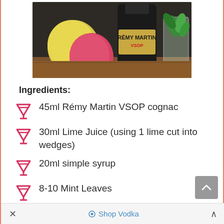[Figure (photo): Photo of Rémy Martin VSOP cognac bottle with a yellow lemon, red apple, and a tall glass with mint leaves on a wooden surface]
Ingredients:
45ml Rémy Martin VSOP cognac
30ml Lime Juice (using 1 lime cut into wedges)
20ml simple syrup
8-10 Mint Leaves
× Shop Vodka ∧